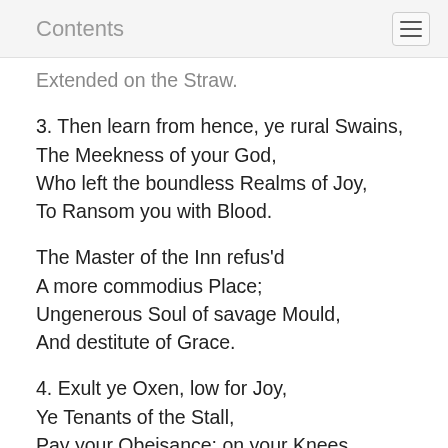Contents
Extended on the Straw.
3. Then learn from hence, ye rural Swains,
The Meekness of your God,
Who left the boundless Realms of Joy,
To Ransom you with Blood.
The Master of the Inn refus'd
A more commodius Place;
Ungenerous Soul of savage Mould,
And destitute of Grace.
4. Exult ye Oxen, low for Joy,
Ye Tenants of the Stall,
Pay your Obeisance; on your Knees
Unanimously fall.
The...